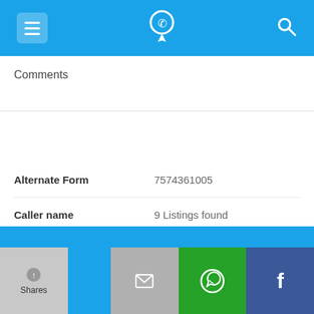[Figure (screenshot): Top navigation bar with menu icon, phone/location app logo, and search icon on blue background]
Comments
757-436-1005
| Field | Value |
| --- | --- |
| Alternate Form | 7574361005 |
| Caller name | 9 Listings found |
| Last User Search | No searches yet |
| Comments |  |
[Figure (screenshot): Bottom share bar with Shares label, email icon (grey), WhatsApp icon (green), Facebook icon (dark blue)]